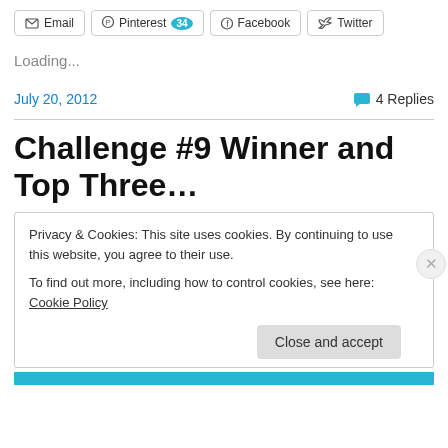[Figure (screenshot): Social share buttons: Email, Pinterest (34), Facebook, Twitter]
Loading...
July 20, 2012
4 Replies
Challenge #9 Winner and Top Three…
Privacy & Cookies: This site uses cookies. By continuing to use this website, you agree to their use.
To find out more, including how to control cookies, see here: Cookie Policy
Close and accept